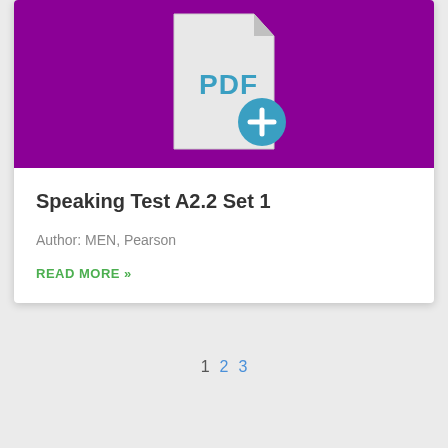[Figure (logo): PDF file icon with a plus badge on a purple/magenta background]
Speaking Test A2.2 Set 1
Author: MEN, Pearson
READ MORE »
1 2 3